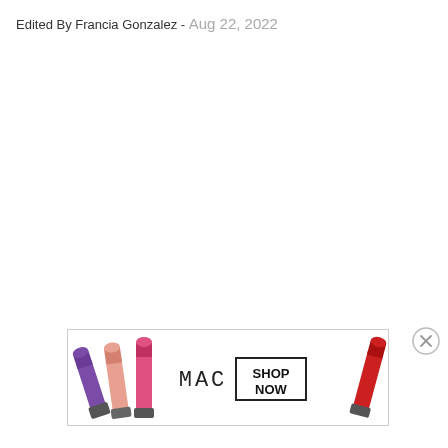Edited By Francia Gonzalez - Aug 22, 2022
[Figure (other): Close (X) button circle icon]
[Figure (illustration): MAC Cosmetics advertisement banner showing colorful lipsticks (purple, pink, coral, red) with MAC logo and SHOP NOW button]